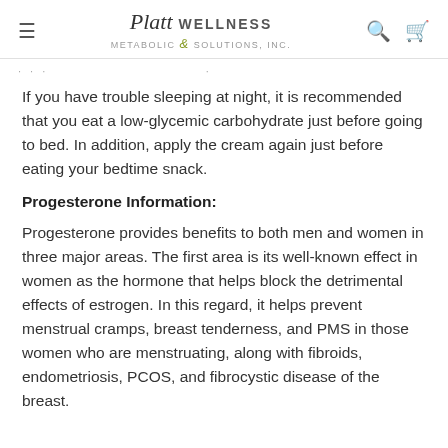Platt Wellness & Metabolic Solutions, Inc.
If you have trouble sleeping at night, it is recommended that you eat a low-glycemic carbohydrate just before going to bed. In addition, apply the cream again just before eating your bedtime snack.
Progesterone Information:
Progesterone provides benefits to both men and women in three major areas. The first area is its well-known effect in women as the hormone that helps block the detrimental effects of estrogen. In this regard, it helps prevent menstrual cramps, breast tenderness, and PMS in those women who are menstruating, along with fibroids, endometriosis, PCOS, and fibrocystic disease of the breast.